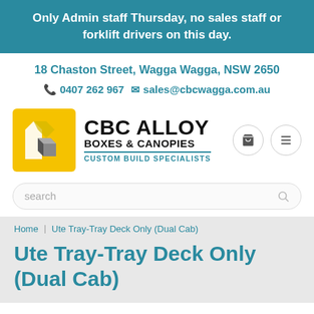Only Admin staff Thursday, no sales staff or forklift drivers on this day.
18 Chaston Street, Wagga Wagga, NSW 2650
0407 262 967  sales@cbcwagga.com.au
[Figure (logo): CBC Alloy Boxes & Canopies logo with yellow square icon and text 'CBC ALLOY BOXES & CANOPIES CUSTOM BUILD SPECIALISTS']
search
Home  Ute Tray-Tray Deck Only (Dual Cab)
Ute Tray-Tray Deck Only (Dual Cab)